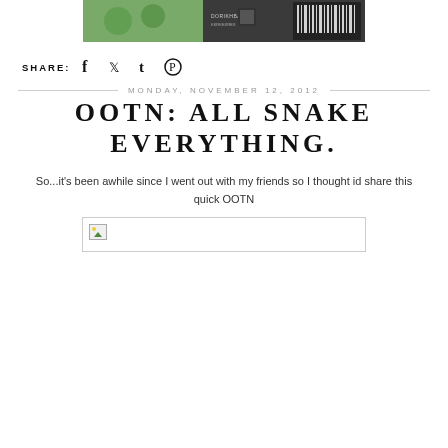[Figure (photo): Top portion of a product photo showing green packaging with QR code and barcode visible]
SHARE: [social icons: facebook, twitter, tumblr, pinterest]
MONDAY, NOVEMBER 12, 2012
OOTN: ALL SNAKE EVERYTHING.
So...it's been awhile since I went out with my friends so I thought id share this quick OOTN
[Figure (photo): Broken/missing image placeholder with small icon in top-left corner]